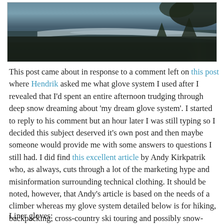[Figure (photo): Winter landscape photo showing a partially frozen river or lake with snow-covered banks and dark coniferous trees reflecting in the water.]
This post came about in response to a comment left on this post where Hendrik asked me what glove system I used after I revealed that I'd spent an entire afternoon trudging through deep snow dreaming about 'my dream glove system'. I started to reply to his comment but an hour later I was still typing so I decided this subject deserved it's own post and then maybe someone would provide me with some answers to questions I still had. I did find this excellent article by Andy Kirkpatrik who, as always, cuts through a lot of the marketing hype and misinformation surrounding technical clothing. It should be noted, however, that Andy's article is based on the needs of a climber whereas my glove system detailed below is for hiking, backpacking, cross-country ski touring and possibly snow-shoeing during the winter in Norway. As always I try to make it simple and light but comfortable and safe as well.
Liner gloves: